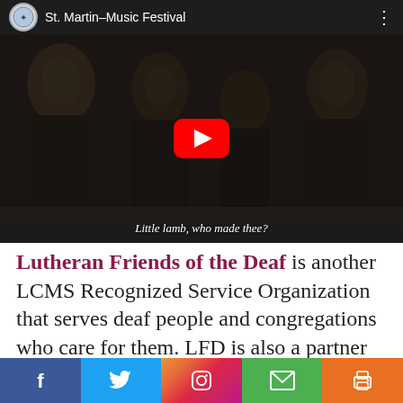[Figure (screenshot): YouTube video thumbnail showing children singing, titled 'St. Martin–Music Festival', with subtitle 'Little lamb, who made thee?']
Lutheran Friends of the Deaf is another LCMS Recognized Service Organization that serves deaf people and congregations who care for them. LFD is also a partner with the Michigan District in Deaf Ministry. Click here for Bible stories and videos for deaf children. Here is an example of one of the stories contained in the book that are available f...
[Figure (infographic): Social media share bar with buttons: Facebook, Twitter, Instagram, Email, Print]